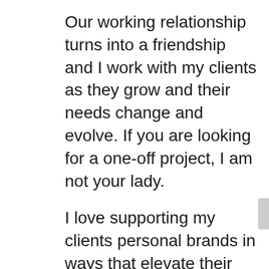Our working relationship turns into a friendship and I work with my clients as they grow and their needs change and evolve. If you are looking for a one-off project, I am not your lady.
I love supporting my clients personal brands in ways that elevate their professionalism and capture their essence so the world gets to see them through the right words, the right visuals, and the right energy when they are out there representing themselves.
We work hard but have fun doing it. And, the results are epic!